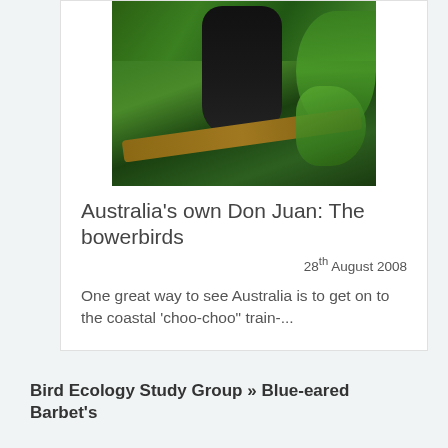[Figure (photo): A black bowerbird perched on a branch surrounded by green tropical foliage]
Australia’s own Don Juan: The bowerbirds
28th August 2008
One great way to see Australia is to get on to the coastal ‘choo-choo” train-...
Bird Ecology Study Group » Blue-eared Barbet’s